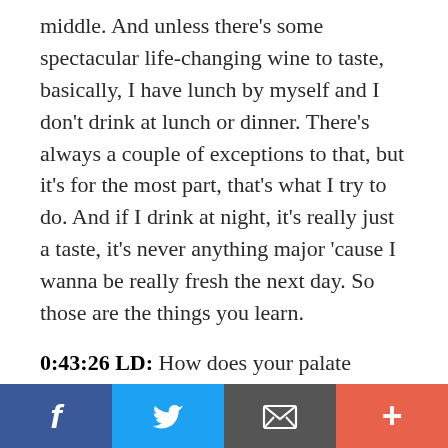middle. And unless there's some spectacular life-changing wine to taste, basically, I have lunch by myself and I don't drink at lunch or dinner. There's always a couple of exceptions to that, but it's for the most part, that's what I try to do. And if I drink at night, it's really just a taste, it's never anything major 'cause I wanna be really fresh the next day. So those are the things you learn.
0:43:26 LD: How does your palate change over the course of the day?
[Figure (infographic): Social media sharing footer bar with four buttons: Facebook (blue, f icon), Twitter (light blue, bird icon), Email (grey, envelope icon), More/Plus (red-orange, + icon)]